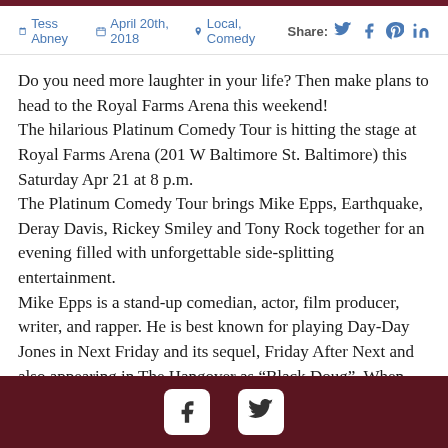Tess Abney | April 20th, 2018 | Local, Comedy | Share:
Do you need more laughter in your life? Then make plans to head to the Royal Farms Arena this weekend!
The hilarious Platinum Comedy Tour is hitting the stage at Royal Farms Arena (201 W Baltimore St. Baltimore) this Saturday Apr 21 at 8 p.m.
The Platinum Comedy Tour brings Mike Epps, Earthquake, Deray Davis, Rickey Smiley and Tony Rock together for an evening filled with unforgettable side-splitting entertainment.
Mike Epps is a stand-up comedian, actor, film producer, writer, and rapper. He is best known for playing Day-Day Jones in Next Friday and its sequel, Friday After Next and also appearing in The Hangover as “Black Doug”. When Epps isn’t filming, he is touring the country and performing his comedy act. The Mike Epps on the Edge Tour sold-out theaters and
Social media icons: Facebook, Twitter